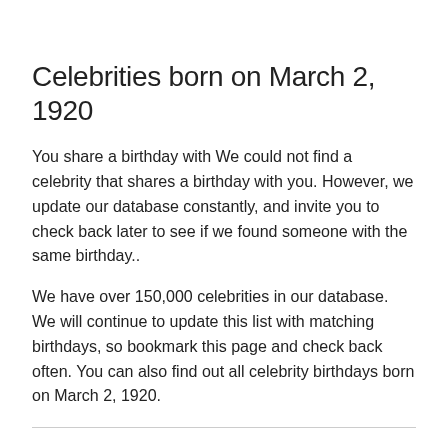Celebrities born on March 2, 1920
You share a birthday with We could not find a celebrity that shares a birthday with you. However, we update our database constantly, and invite you to check back later to see if we found someone with the same birthday..
We have over 150,000 celebrities in our database. We will continue to update this list with matching birthdays, so bookmark this page and check back often. You can also find out all celebrity birthdays born on March 2, 1920.
What happened on March 2nd